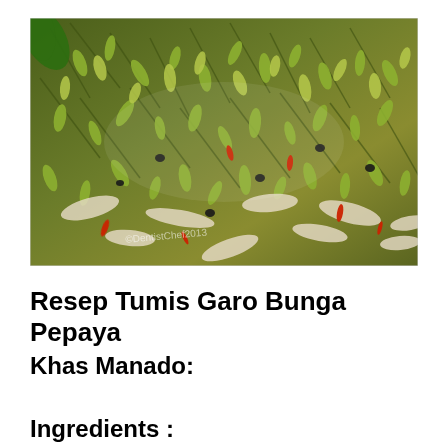[Figure (photo): Close-up photo of Tumis Garo Bunga Pepaya dish – stir-fried papaya flowers with shredded chicken, red chilies, and black beans on a plate. Watermark reads '©DentistChef2013' in the lower left of the image.]
Resep Tumis Garo Bunga Pepaya
Khas Manado:
Ingredients :